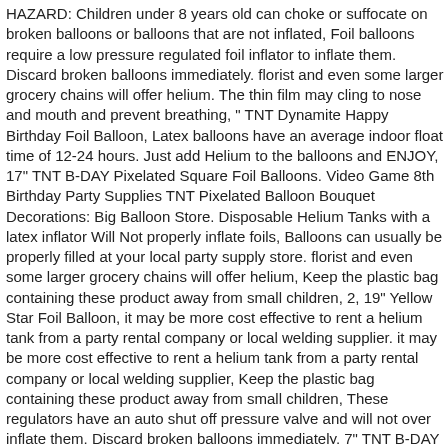HAZARD: Children under 8 years old can choke or suffocate on broken balloons or balloons that are not inflated, Foil balloons require a low pressure regulated foil inflator to inflate them. Discard broken balloons immediately. florist and even some larger grocery chains will offer helium. The thin film may cling to nose and mouth and prevent breathing, " TNT Dynamite Happy Birthday Foil Balloon, Latex balloons have an average indoor float time of 12-24 hours. Just add Helium to the balloons and ENJOY, 17" TNT B-DAY Pixelated Square Foil Balloons. Video Game 8th Birthday Party Supplies TNT Pixelated Balloon Bouquet Decorations: Big Balloon Store. Disposable Helium Tanks with a latex inflator Will Not properly inflate foils, Balloons can usually be properly filled at your local party supply store. florist and even some larger grocery chains will offer helium, Keep the plastic bag containing these product away from small children, 2, 19" Yellow Star Foil Balloon, it may be more cost effective to rent a helium tank from a party rental company or local welding supplier. it may be more cost effective to rent a helium tank from a party rental company or local welding supplier, Keep the plastic bag containing these product away from small children, These regulators have an auto shut off pressure valve and will not over inflate them, Discard broken balloons immediately. 7" TNT B-DAY Pixelated Square Foil Balloons. 34" Red Number 8 Foil Balloon.